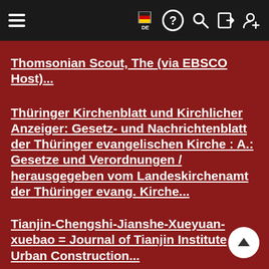Navigation header with hamburger menu, DE flag, help, search, login, and add user icons
Thomsonian Scout, The (via EBSCO Host)...
Thüringer Kirchenblatt und Kirchlicher Anzeiger: Gesetz- und Nachrichtenblatt der Thüringer evangelischen Kirche : A.: Gesetze und Verordnungen / herausgegeben vom Landeskirchenamt der Thüringer evang. Kirche...
Tianjin-Chengshi-Jianshe-Xueyuan-xuebao = Journal of Tianjin Institute Urban Construction...